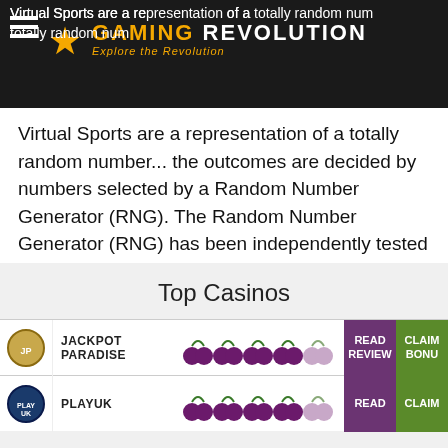Gaming Revolution — Explore the Revolution
Virtual Sports are a representation of a totally random number... the outcomes are decided by numbers selected by a Random Number Generator (RNG). The Random Number Generator (RNG) has been independently tested and certified by eCOGRA in compliance with the British Gambling Commission's Technical Standards Document (TSD): Remote Gambling and Software Technical Standards, June 2017.
Check out our bet365 Casino Review or go visit bet365 now!
Top Casinos
| Logo | Name | Rating | Read Review | Claim Bonus |
| --- | --- | --- | --- | --- |
| JACKPOT PARADISE | 4.5/5 | READ REVIEW | CLAIM BONUS |
| PLAYUK | 4/5 | READ | CLAIM |